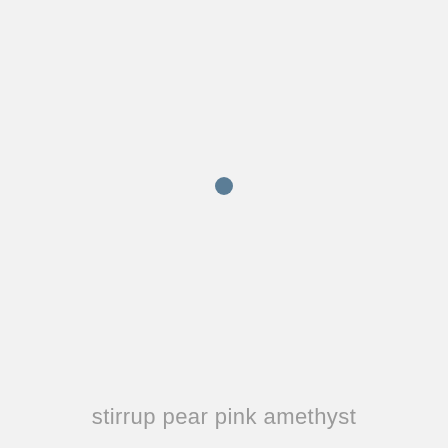[Figure (other): A single small dark steel-blue filled circle centered slightly left of middle on a light gray background]
stirrup pear pink amethyst